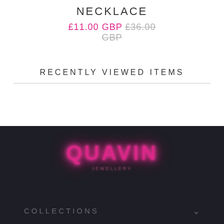NECKLACE
£11.00 GBP £36.00 GBP
RECENTLY VIEWED ITEMS
[Figure (logo): QUAVIN brand logo in glowing pink text on dark background]
COLLECTIONS